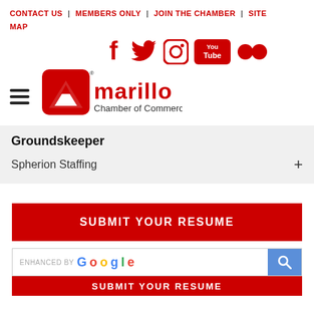CONTACT US | MEMBERS ONLY | JOIN THE CHAMBER | SITE MAP
[Figure (infographic): Social media icons: Facebook, Twitter, Instagram, YouTube, Flickr in red]
[Figure (logo): Amarillo Chamber of Commerce logo - red A with white triangle, text 'amarillo Chamber of Commerce']
Groundskeeper
Spherion Staffing +
SUBMIT YOUR RESUME
ENHANCED BY Google
SUBMIT YOUR RESUME